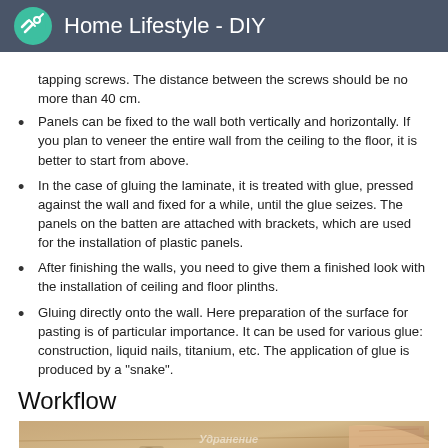Home Lifestyle - DIY
tapping screws. The distance between the screws should be no more than 40 cm.
Panels can be fixed to the wall both vertically and horizontally. If you plan to veneer the entire wall from the ceiling to the floor, it is better to start from above.
In the case of gluing the laminate, it is treated with glue, pressed against the wall and fixed for a while, until the glue seizes. The panels on the batten are attached with brackets, which are used for the installation of plastic panels.
After finishing the walls, you need to give them a finished look with the installation of ceiling and floor plinths.
Gluing directly onto the wall. Here preparation of the surface for pasting is of particular importance. It can be used for various glue: construction, liquid nails, titanium, etc. The application of glue is produced by a "snake".
Workflow
[Figure (photo): A photo showing woodworking or construction materials with Cyrillic text overlay reading 'Сделать']